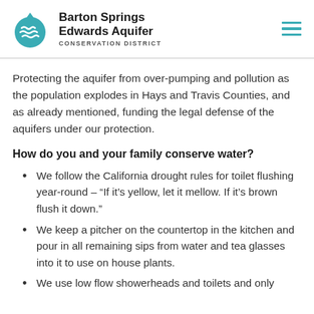Barton Springs Edwards Aquifer Conservation District
Protecting the aquifer from over-pumping and pollution as the population explodes in Hays and Travis Counties, and as already mentioned, funding the legal defense of the aquifers under our protection.
How do you and your family conserve water?
We follow the California drought rules for toilet flushing year-round – “If it’s yellow, let it mellow. If it’s brown flush it down.”
We keep a pitcher on the countertop in the kitchen and pour in all remaining sips from water and tea glasses into it to use on house plants.
We use low flow showerheads and toilets and only